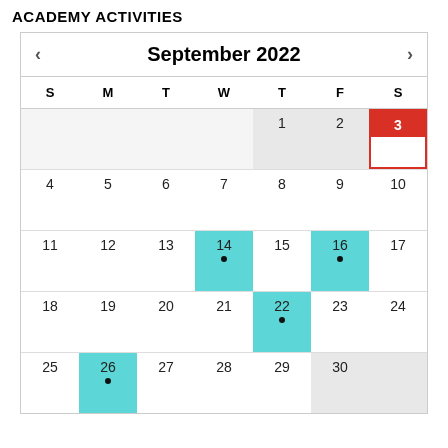ACADEMY ACTIVITIES
[Figure (other): September 2022 calendar with highlighted dates: 3 (red/today), 14 (cyan), 16 (cyan), 22 (cyan), 26 (cyan). Dots on 14, 16, 22, 26.]